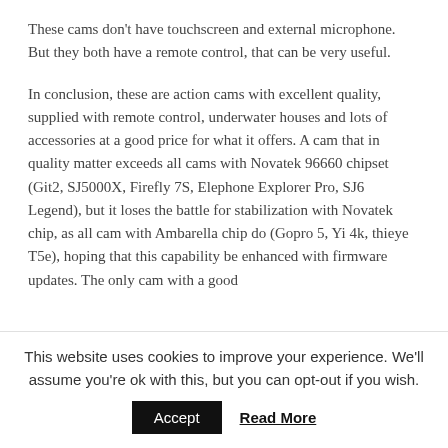These cams don't have touchscreen and external microphone. But they both have a remote control, that can be very useful.
In conclusion, these are action cams with excellent quality, supplied with remote control, underwater houses and lots of accessories at a good price for what it offers. A cam that in quality matter exceeds all cams with Novatek 96660 chipset (Git2, SJ5000X, Firefly 7S, Elephone Explorer Pro, SJ6 Legend), but it loses the battle for stabilization with Novatek chip, as all cam with Ambarella chip do (Gopro 5, Yi 4k, thieye T5e), hoping that this capability be enhanced with firmware updates. The only cam with a good
This website uses cookies to improve your experience. We'll assume you're ok with this, but you can opt-out if you wish.